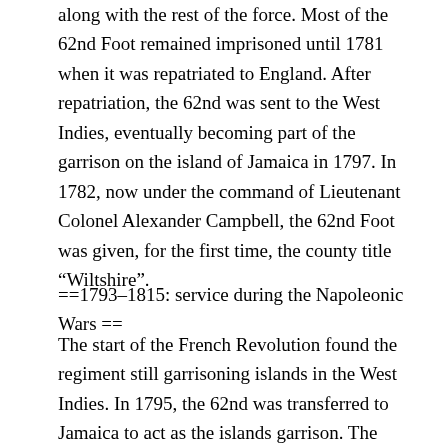along with the rest of the force. Most of the 62nd Foot remained imprisoned until 1781 when it was repatriated to England. After repatriation, the 62nd was sent to the West Indies, eventually becoming part of the garrison on the island of Jamaica in 1797. In 1782, now under the command of Lieutenant Colonel Alexander Campbell, the 62nd Foot was given, for the first time, the county title "Wiltshire".
==1793–1815: service during the Napoleonic Wars ==
The start of the French Revolution found the regiment still garrisoning islands in the West Indies. In 1795, the 62nd was transferred to Jamaica to act as the islands garrison. The 62nd spent the majority of 1796 fighting in what is now Haiti as part of the British expedition there. As with the rest of the British expedition, the regiment suffered heavily from yellow fever. After transferring men out to other unit,